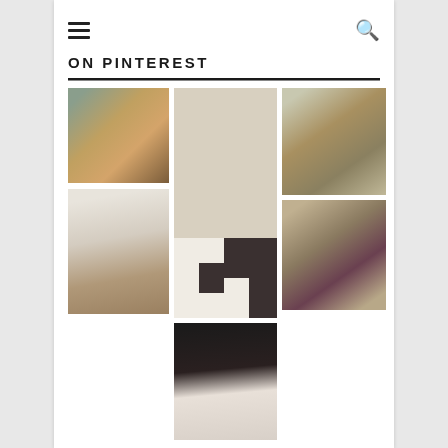ON PINTEREST
[Figure (photo): Kitchen interior with colorful island, wooden furniture, paintings on wall, stainless appliances]
[Figure (photo): Kitchen with black and white checkered floor, wooden island, pendant lights, dark hood]
[Figure (photo): Kitchen with open wooden shelves, sage green cabinets, natural light]
[Figure (photo): Bright white kitchen with long island and wooden cart underneath, pendant lights]
[Figure (photo): Close-up of hand with floral tattoo on wrist against dark sleeve background]
[Figure (photo): Kitchen with purple/burgundy door accent, round table, flowers, tile floor]